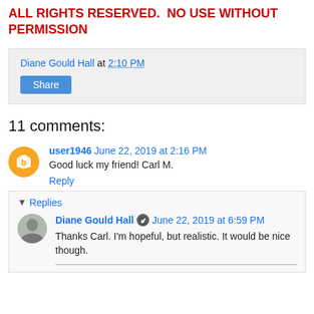ALL RIGHTS RESERVED.  NO USE WITHOUT PERMISSION
Diane Gould Hall at 2:10 PM
Share
11 comments:
user1946  June 22, 2019 at 2:16 PM
Good luck my friend! Carl M.
Reply
Replies
Diane Gould Hall  June 22, 2019 at 6:59 PM
Thanks Carl. I'm hopeful, but realistic. It would be nice though.